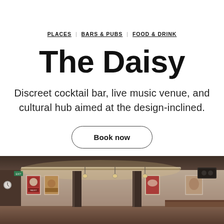PLACES | BARS & PUBS | FOOD & DRINK
The Daisy
Discreet cocktail bar, live music venue, and cultural hub aimed at the design-inclined.
Book now
[Figure (photo): Interior of The Daisy bar showing warm-lit space with posters on walls, dark columns, pendant lights, and bar equipment visible in the background]